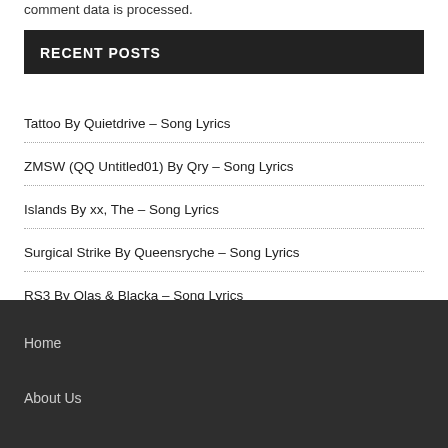comment data is processed.
RECENT POSTS
Tattoo By Quietdrive – Song Lyrics
ZMSW (QQ Untitled01) By Qry – Song Lyrics
Islands By xx, The – Song Lyrics
Surgical Strike By Queensryche – Song Lyrics
RS3 By Qlas & Blacka – Song Lyrics
Home
About Us